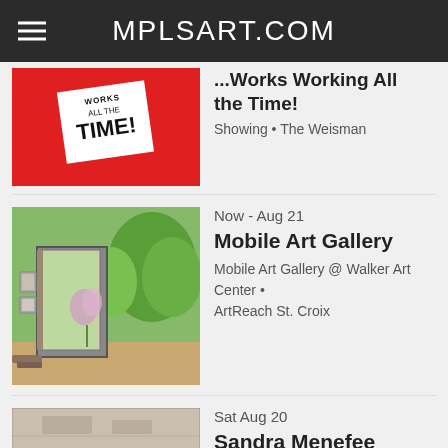MPLSART.COM
[Figure (photo): Red poster image with text 'Works Working All the Time!']
...Works Working All the Time!
Showing • The Weisman
[Figure (photo): Outdoor mobile art gallery photo with door and trees]
Now - Aug 21
Mobile Art Gallery
Mobile Art Gallery @ Walker Art Center • ArtReach St. Croix
[Figure (photo): Stone texture close-up photo]
Sat Aug 20
Sandra Menefee Taylor | Second Nature (After Millet)
Artist Talk & Closing • Form + Content Gallery
View All